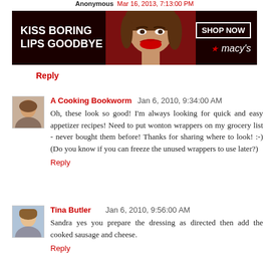Anonymous  Mar 16, 2013, 7:13:00 PM
[Figure (screenshot): Macy's advertisement banner: 'KISS BORING LIPS GOODBYE' with a woman's face with red lips, and 'SHOP NOW ★ macy's' button on dark red background]
Reply
A Cooking Bookworm  Jan 6, 2010, 9:34:00 AM
Oh, these look so good! I'm always looking for quick and easy appetizer recipes! Need to put wonton wrappers on my grocery list - never bought them before! Thanks for sharing where to look! :-) (Do you know if you can freeze the unused wrappers to use later?)
Reply
Tina Butler  Jan 6, 2010, 9:56:00 AM
Sandra yes you prepare the dressing as directed then add the cooked sausage and cheese.
Reply